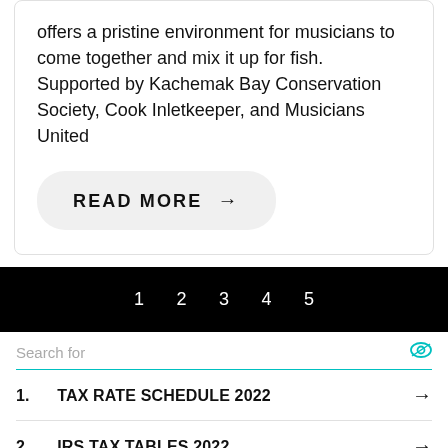offers a pristine environment for musicians to come together and mix it up for fish.  Supported by Kachemak Bay Conservation Society, Cook Inletkeeper, and Musicians United
READ MORE →
1  2  3  4  5
Search for
1. TAX RATE SCHEDULE 2022
2. IRS TAX TABLES 2022